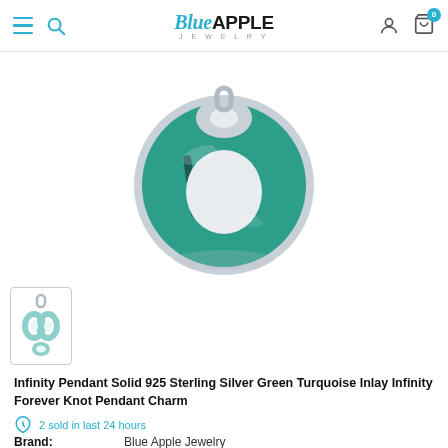Blue Apple Jewelry — navigation header with hamburger, search, logo, user, and cart icons
[Figure (photo): Large product photo of a turquoise and sterling silver horseshoe-shaped infinity pendant, viewed from front. Round shape with teal/green turquoise inlay and silver framing.]
[Figure (photo): Thumbnail of the infinity pendant charm showing the full pendant with bail, smaller view, teal coloring.]
Infinity Pendant Solid 925 Sterling Silver Green Turquoise Inlay Infinity Forever Knot Pendant Charm
2 sold in last 24 hours
| Label | Value |
| --- | --- |
| Brand: | Blue Apple Jewelry |
| Product Code: | st-13892-TQ |